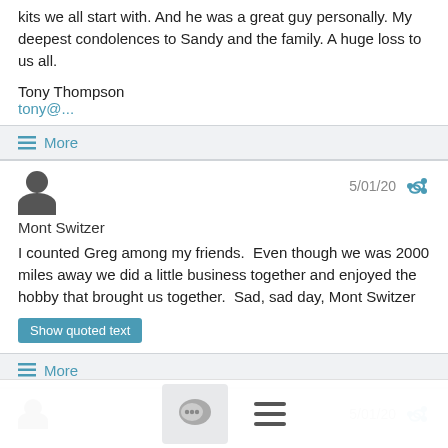kits we all start with. And he was a great guy personally. My deepest condolences to Sandy and the family. A huge loss to us all.
Tony Thompson
tony@...
≡ More
Mont Switzer
5/01/20
I counted Greg among my friends.  Even though we was 2000 miles away we did a little business together and enjoyed the hobby that brought us together.  Sad, sad day, Mont Switzer
Show quoted text
≡ More
5/01/20